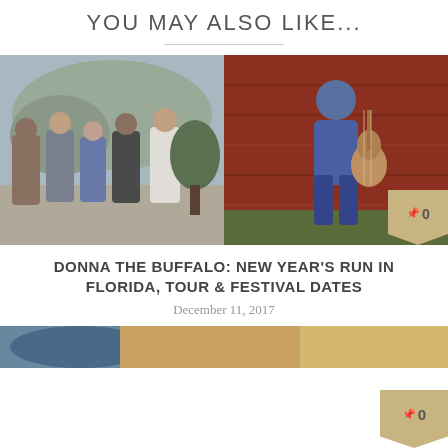YOU MAY ALSO LIKE...
[Figure (photo): Left: A band of five people standing outdoors against a rocky hillside background. Right: A woman standing against a red barn wall holding an acoustic guitar. A tan badge with a pin icon and '0' appears in the bottom right corner.]
DONNA THE BUFFALO: NEW YEAR'S RUN IN FLORIDA, TOUR & FESTIVAL DATES
December 11, 2017
[Figure (photo): Partial bottom image showing a warm-toned photo (cropped), with a tan badge with pin icon and '0' in the bottom right corner.]